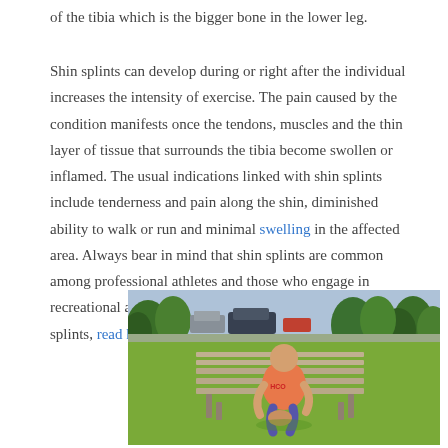of the tibia which is the bigger bone in the lower leg.
Shin splints can develop during or right after the individual increases the intensity of exercise. The pain caused by the condition manifests once the tendons, muscles and the thin layer of tissue that surrounds the tibia become swollen or inflamed. The usual indications linked with shin splints include tenderness and pain along the shin, diminished ability to walk or run and minimal swelling in the affected area. Always bear in mind that shin splints are common among professional athletes and those who engage in recreational activity. If you want to learn how to handle shin splints, read here.
[Figure (photo): A person wearing an orange HCO tank top sitting on a park bench, leaning forward holding their lower leg/shin area, outdoors on a grassy area with trees and parked vehicles in the background.]